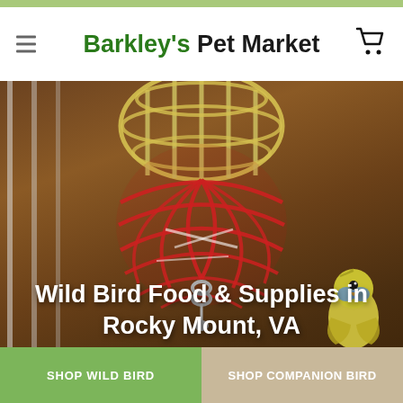Barkley's Pet Market
[Figure (photo): Close-up photo of a red and yellow lattice plastic ball bird toy hanging with a metal chain/ring, with a small yellow parakeet visible in the lower right corner, set against a blurred brown wooden background.]
Wild Bird Food & Supplies in Rocky Mount, VA
SHOP WILD BIRD
SHOP COMPANION BIRD